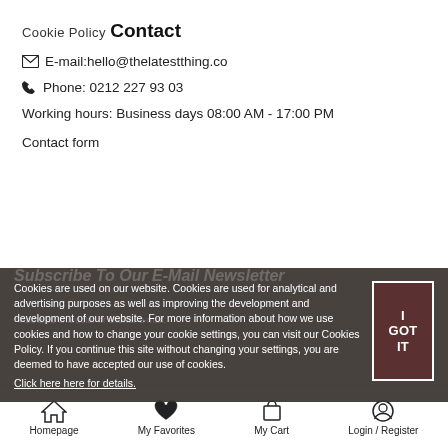Cookie Policy
Contact
E-mail:hello@thelatestthing.co
Phone: 0212 227 93 03
Working hours: Business days 08:00 AM - 17:00 PM
Contact form
Cookies are used on our website. Cookies are used for analytical and advertising purposes as well as improving the development and development of our website. For more information about how we use cookies and how to change your cookie settings, you can visit our Cookies Policy. If you continue this site without changing your settings, you are deemed to have accepted our use of cookies. Click here here for details.
Homepage  My Favorites  My Cart  Login / Register